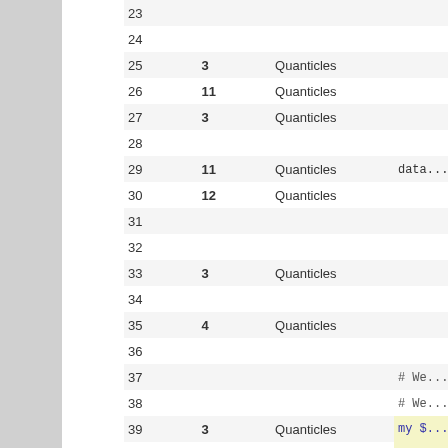| Line | Count | Category | Code |
| --- | --- | --- | --- |
| 23 |  |  |  |
| 24 |  |  |  |
| 25 | 3 | Quanticles |  |
| 26 | 11 | Quanticles |  |
| 27 | 3 | Quanticles |  |
| 28 |  |  |  |
| 29 | 11 | Quanticles | data... |
| 30 | 12 | Quanticles |  |
| 31 |  |  |  |
| 32 |  |  |  |
| 33 | 3 | Quanticles |  |
| 34 |  |  |  |
| 35 | 4 | Quanticles |  |
| 36 |  |  |  |
| 37 |  |  | # We... |
| 38 |  |  | # We... sect... |
| 39 | 3 | Quanticles | my $... |
| 40 | 4 | Quanticles | my $... |
| 41 |  |  | my $... |
| 42 | 3 | Quanticles |  |
| 43 |  |  |  |